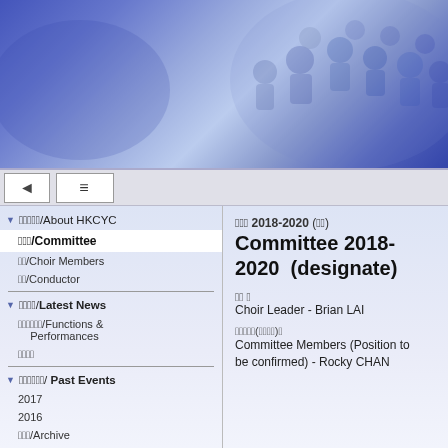[Figure (photo): Blue-tinted banner photo showing a group of choir members/people, overlaid with blue gradient]
Navigation bar with back button and hamburger menu
香港青年合唱團/About HKCYC
委員會/Committee (active)
團員/Choir Members
指揮/Conductor
最新消息/Latest News
活動演出/Functions & Performances
其他消息
往屆活動/ Past Events
2017
2016
檔案館/Archive
委員會 2018-2020 (候任)
Committee 2018-2020 (designate)
團 長
Choir Leader - Brian LAI
委員會成員(職位待定)：
Committee Members (Position to be confirmed) - Rocky CHAN